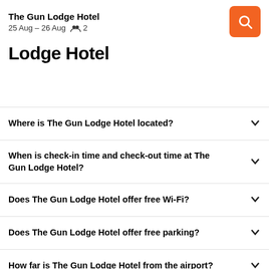The Gun Lodge Hotel | 25 Aug – 26 Aug | 2 guests
Lodge Hotel
Where is The Gun Lodge Hotel located?
When is check-in time and check-out time at The Gun Lodge Hotel?
Does The Gun Lodge Hotel offer free Wi-Fi?
Does The Gun Lodge Hotel offer free parking?
How far is The Gun Lodge Hotel from the airport?
How does KAYAK find such great The Gun Lodge Hotel hotel deals?